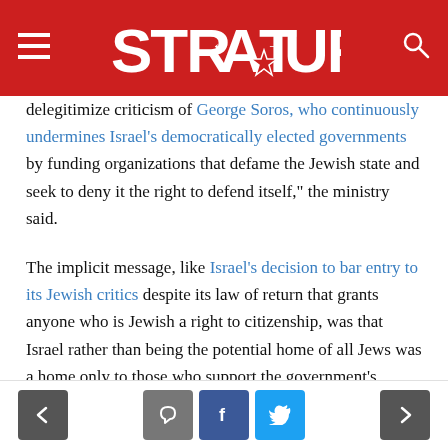STRATORKA (logo with navigation)
delegitimize criticism of George Soros, who continuously undermines Israel's democratically elected governments by funding organizations that defame the Jewish state and seek to deny it the right to defend itself,” the ministry said.
The implicit message, like Israel’s decision to bar entry to its Jewish critics despite its law of return that grants anyone who is Jewish a right to citizenship, was that Israel rather than being the potential home of all Jews was a home only to those who support the government’s policies.
Mr. Netanyahu’s alignment of Israel with right-wing nationalist and populist forces like his support for ultra-
< [comment] [f] [twitter] >